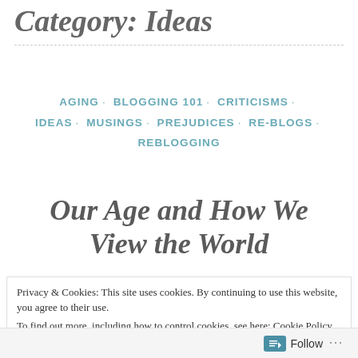Category: Ideas
AGING · BLOGGING 101 · CRITICISMS · IDEAS · MUSINGS · PREJUDICES · RE-BLOGS · REBLOGGING
Our Age and How We View the World
Privacy & Cookies: This site uses cookies. By continuing to use this website, you agree to their use.
To find out more, including how to control cookies, see here: Cookie Policy
Close and accept
Follow